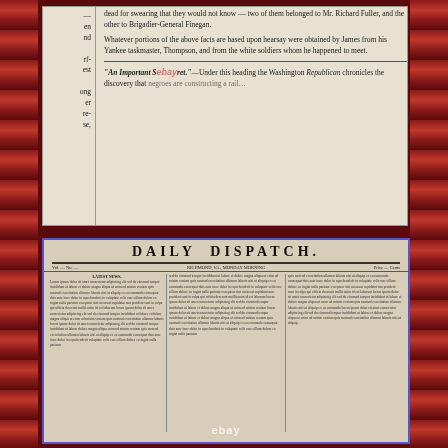[Figure (photo): Zoomed-in scan of an old newspaper clipping showing text about Mr. Richard Fuller and Brigadier-General Finegan, with an eBay watermark overlay. Text discusses facts based on hearsay obtained by James from his Yankee taskmaster, Thompson, and mentions 'An Important Secret' item referencing the Washington Republican.]
[Figure (photo): Full-page photograph of a yellowed, folded antique newspaper titled 'DAILY DISPATCH' with multiple columns of small text, showing age staining and fold lines. An eBay watermark is visible at the bottom center.]